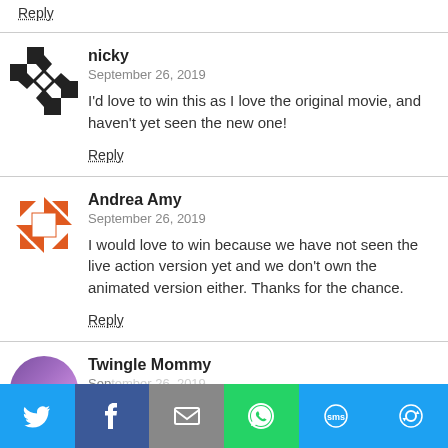Reply
nicky
September 26, 2019
I'd love to win this as I love the original movie, and haven't yet seen the new one!
Reply
Andrea Amy
September 26, 2019
I would love to win because we have not seen the live action version yet and we don't own the animated version either. Thanks for the chance.
Reply
Twingle Mommy
[Figure (screenshot): Social share bar with Twitter, Facebook, Email, WhatsApp, SMS, and More buttons]